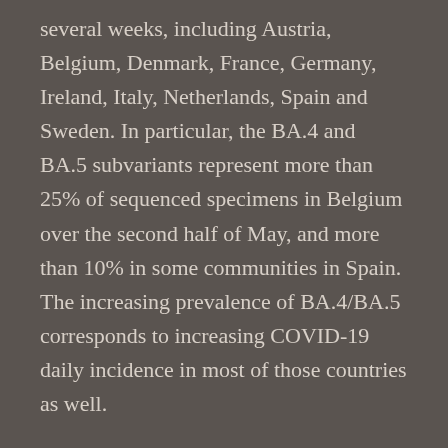several weeks, including Austria, Belgium, Denmark, France, Germany, Ireland, Italy, Netherlands, Spain and Sweden. In particular, the BA.4 and BA.5 subvariants represent more than 25% of sequenced specimens in Belgium over the second half of May, and more than 10% in some communities in Spain. The increasing prevalence of BA.4/BA.5 corresponds to increasing COVID-19 daily incidence in most of those countries as well.
The ECDC projects that BA.4 and BA.5 will become the dominant variants across Europe “in the coming weeks” and that the continent can expect an associated COVID-19 surge like those in the countries noted above. The daily incidence in Europe has increased nearly 30% since June 6, with even